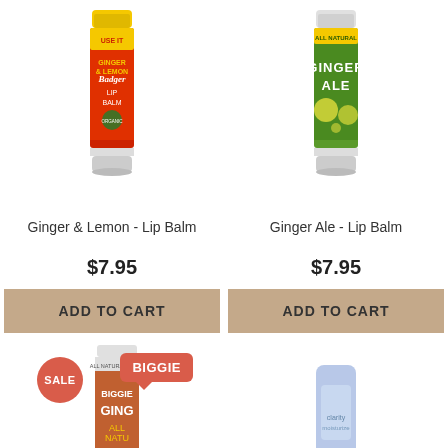[Figure (photo): Badger Ginger & Lemon Lip Balm stick product image]
[Figure (photo): Ginger Ale Lip Balm stick product image]
Ginger & Lemon - Lip Balm
Ginger Ale - Lip Balm
$7.95
$7.95
ADD TO CART
ADD TO CART
[Figure (photo): Ginger lip balm biggie stick with SALE and BIGGIE badges]
[Figure (photo): Light blue tube product image (partial)]